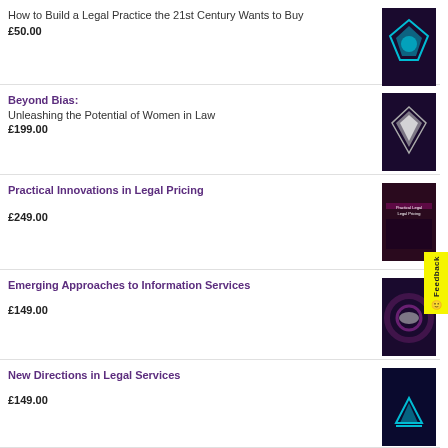How to Build a Legal Practice the 21st Century Wants to Buy
£50.00
[Figure (illustration): Book cover with blue/teal geometric shapes on dark purple/black background]
Beyond Bias:
Unleashing the Potential of Women in Law
£199.00
[Figure (illustration): Book cover with diamond shape on dark purple background]
Practical Innovations in Legal Pricing
£249.00
[Figure (illustration): Book cover dark purple/maroon with text on it, partially obscured by yellow feedback tab]
Emerging Approaches to Information Services
£149.00
[Figure (illustration): Book cover with circular design on dark purple background]
New Directions in Legal Services
£149.00
[Figure (illustration): Book cover with geometric teal/blue design on dark purple background]